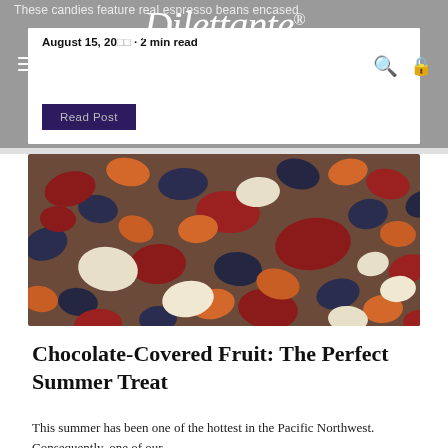These candies feature real espresso beans encased
August 15, 20__ · 2 min read
Dilettante® CHOCOLATES
[Figure (photo): Read Post button on a white card over grey navigation header]
[Figure (photo): Close-up photo of colorful chocolate-covered fruit/beans in red, dark navy, orange, and cream/white colors]
Chocolate-Covered Fruit: The Perfect Summer Treat
This summer has been one of the hottest in the Pacific Northwest. Consequently, one of our...